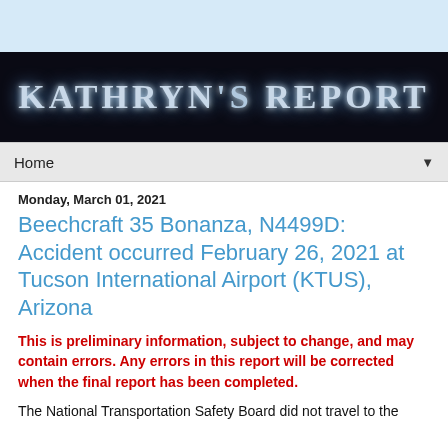[Figure (illustration): Light blue header bar at top of page]
KATHRYN'S REPORT
Home ▼
Monday, March 01, 2021
Beechcraft 35 Bonanza, N4499D: Accident occurred February 26, 2021 at Tucson International Airport (KTUS), Arizona
This is preliminary information, subject to change, and may contain errors. Any errors in this report will be corrected when the final report has been completed.
The National Transportation Safety Board did not travel to the